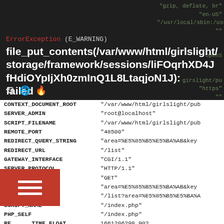ErrorException (E_WARNING)
file_put_contents(/var/www/html/girlslight/storage/framework/sessions/liFOqrhXD4JfHdiOYpIjXh0zmInQ1L8LtaqjoN1J): failed to open stream: No space left on device
| Key | Value |
| --- | --- |
| CONTEXT_DOCUMENT_ROOT | "/var/www/html/girlslight/pub |
| SERVER_ADMIN | "root@localhost" |
| SCRIPT_FILENAME | "/var/www/html/girlslight/pub |
| REMOTE_PORT | "48500" |
| REDIRECT_QUERY_STRING | "area=%E5%85%B5%E5%BA%AB&key… |
| REDIRECT_URL | "/list" |
| GATEWAY_INTERFACE | "CGI/1.1" |
| SERVER_PROTOCOL | "HTTP/1.1" |
| REQUEST_METHOD | "GET" |
| QUERY_STRING | "area=%E5%85%B5%E5%BA%AB&key… |
| REQUEST_URI | "/list?area=%E5%85%B5%E5%BA%A… |
| SCRIPT_NAME | "/index.php" |
| PHP_SELF | "/index.php" |
| REQUEST_TIME_FLOAT | 1661206298.902 |
| REQUEST_TIME | 1661206298 |
| APP_NAME | "Laravel" |
| APP_ENV | "local" |
| APP_KEY | "base64:s5nzawSzoG8BS1ZY1LHi… |